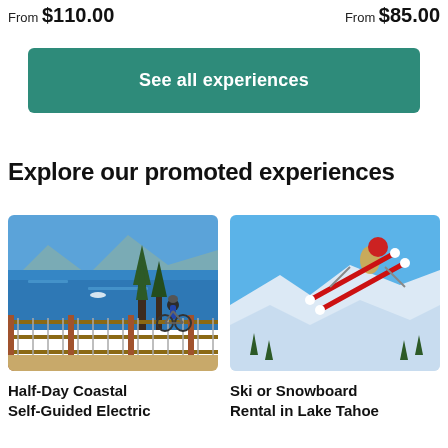From $110.00
From $85.00
See all experiences
Explore our promoted experiences
[Figure (photo): Person on bicycle overlooking blue Lake Tahoe with trees and railing]
Half-Day Coastal Self-Guided Electric
[Figure (photo): Skier or snowboarder airborne with red skis against blue sky over Lake Tahoe]
Ski or Snowboard Rental in Lake Tahoe